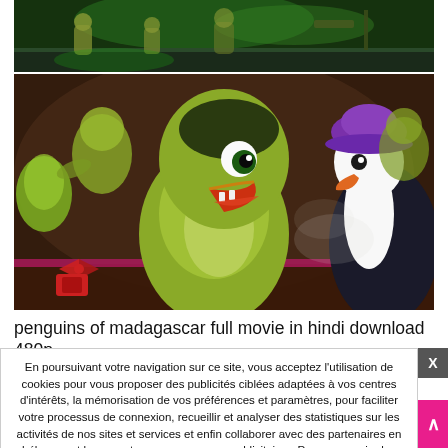[Figure (photo): Top portion of animated scene from Penguins of Madagascar — dark stage with green lighting, performers visible in background]
[Figure (photo): Main scene from Penguins of Madagascar animated movie — close-up of a green penguin character with open beak facing a white goose/bird character wearing a purple hat, nightclub setting]
penguins of madagascar full movie in hindi download 480p,
En poursuivant votre navigation sur ce site, vous acceptez l'utilisation de cookies pour vous proposer des publicités ciblées adaptées à vos centres d'intérêts, la mémorisation de vos préférences et paramètres, pour faciliter votre processus de connexion, recueillir et analyser des statistiques sur les activités de nos sites et services et enfin collaborer avec des partenaires en hébergeant leurs contenus ou annonces publicitaires. Pour en savoir plus et paramétrer les cookies, cliquez ici.